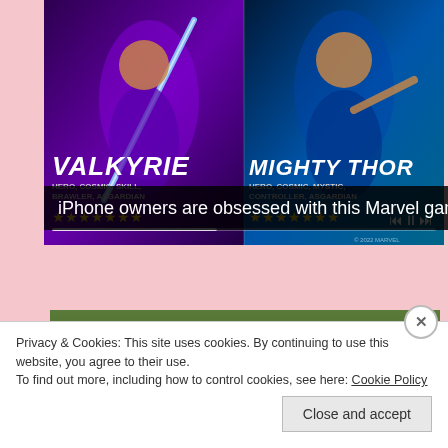[Figure (screenshot): Marvel Strike Force mobile game advertisement showing two characters: Valkyrie (left, with sword, Hero/Cosmic/Skill/Brawler/Asgardian tags, 7 gold stars) and Mighty Thor (right, Hero/Cosmic/Mystic/Controller/Asgardian tags, 7 gold stars) with media playback controls and progress bar.]
iPhone owners are obsessed with this Marvel game
[Figure (photo): Photo of a white horse or animal lying on green grass]
Privacy & Cookies: This site uses cookies. By continuing to use this website, you agree to their use.
To find out more, including how to control cookies, see here: Cookie Policy
Close and accept